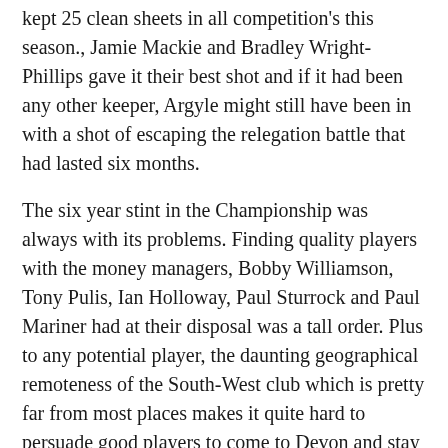kept 25 clean sheets in all competition's this season., Jamie Mackie and Bradley Wright-Phillips gave it their best shot and if it had been any other keeper, Argyle might still have been in with a shot of escaping the relegation battle that had lasted six months.
The six year stint in the Championship was always with its problems. Finding quality players with the money managers, Bobby Williamson, Tony Pulis, Ian Holloway, Paul Sturrock and Paul Mariner had at their disposal was a tall order. Plus to any potential player, the daunting geographical remoteness of the South-West club which is pretty far from most places makes it quite hard to persuade good players to come to Devon and stay there. Of course there have been the few exceptions that have lit up Home Park, but they have had their price. When Williamson brought in former Nigerian international Taribo West in 2005 eyes were definitely raised. With World Cup experience and having played for Auxerre and Inter Milan, and at only 31 the player seemed to good to be true. He was,